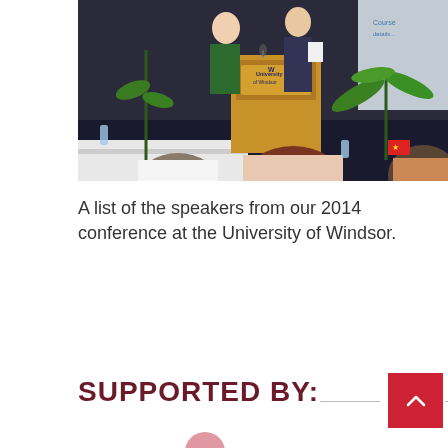[Figure (photo): Conference photo showing speakers at a University of Windsor podium with audience members seated, green plants visible, projection screen in background.]
A list of the speakers from our 2014 conference at the University of Windsor.
SUPPORTED BY: